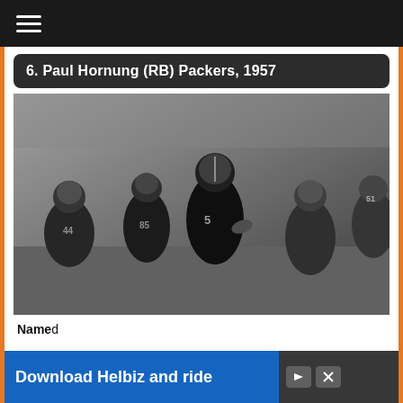≡
6. Paul Hornung (RB) Packers, 1957
[Figure (photo): Black and white vintage photo of Paul Hornung wearing jersey number 5 for the Green Bay Packers, running with the football during a 1957 game, surrounded by other players.]
Named ... Hornung ... and
Download Helbiz and ride